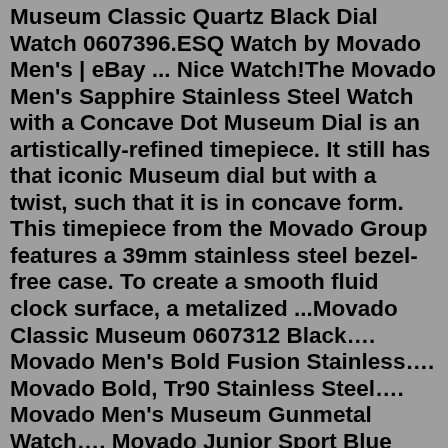Museum Classic Quartz Black Dial Watch 0607396.ESQ Watch by Movado Men's | eBay ... Nice Watch!The Movado Men's Sapphire Stainless Steel Watch with a Concave Dot Museum Dial is an artistically-refined timepiece. It still has that iconic Museum dial but with a twist, such that it is in concave form. This timepiece from the Movado Group features a 39mm stainless steel bezel-free case. To create a smooth fluid clock surface, a metalized ...Movado Classic Museum 0607312 Black…. Movado Men's Bold Fusion Stainless…. Movado Bold, Tr90 Stainless Steel…. Movado Men's Museum Gunmetal Watch…. Movado Junior Sport Blue Dial…. MOVADO Swiss Museum Classic Black…. Ferrari Men's 0830260 REDREV EVO…. Movado 0607315 Rose Gold Museum…. Movado Men's BOLD Metals Two-Tone….Men's Movado watches are becoming increasingly popular as millennials recognize the importance of a luxury timepiece. You can also find some beautiful women's Movado watches. Movado's 1881 is a nod to the company's founding year and is a